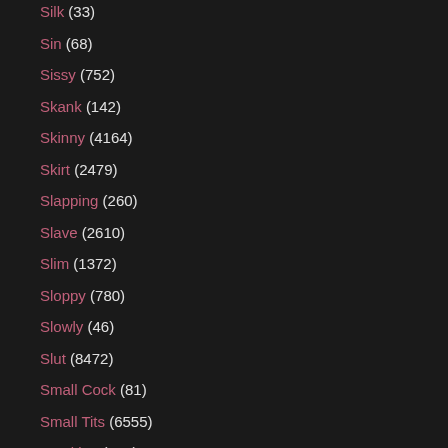Silk (33)
Sin (68)
Sissy (752)
Skank (142)
Skinny (4164)
Skirt (2479)
Slapping (260)
Slave (2610)
Slim (1372)
Sloppy (780)
Slowly (46)
Slut (8472)
Small Cock (81)
Small Tits (6555)
Smoking (483)
Smooth (67)